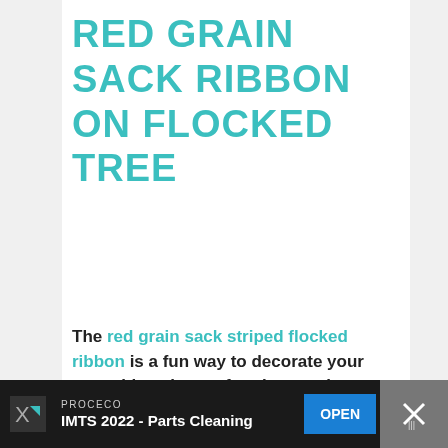RED GRAIN SACK RIBBON ON FLOCKED TREE
The red grain sack striped flocked ribbon is a fun way to decorate your tree with a vintage farmhouse charm.
See it Here
WHAT'S NEXT → How to Decorate a...
PROCECO
IMTS 2022 - Parts Cleaning
OPEN